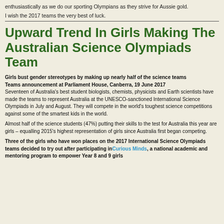enthusiastically as we do our sporting Olympians as they strive for Aussie gold.
I wish the 2017 teams the very best of luck.
Upward Trend In Girls Making The Australian Science Olympiads Team
Girls bust gender stereotypes by making up nearly half of the science teams
Teams announcement at Parliament House, Canberra, 19 June 2017
Seventeen of Australia's best student biologists, chemists, physicists and Earth scientists have made the teams to represent Australia at the UNESCO-sanctioned International Science Olympiads in July and August. They will compete in the world's toughest science competitions against some of the smartest kids in the world.
Almost half of the science students (47%) putting their skills to the test for Australia this year are girls – equalling 2015's highest representation of girls since Australia first began competing.
Three of the girls who have won places on the 2017 International Science Olympiads teams decided to try out after participating in Curious Minds, a national academic and mentoring program to empower Year 8 and 9 girls